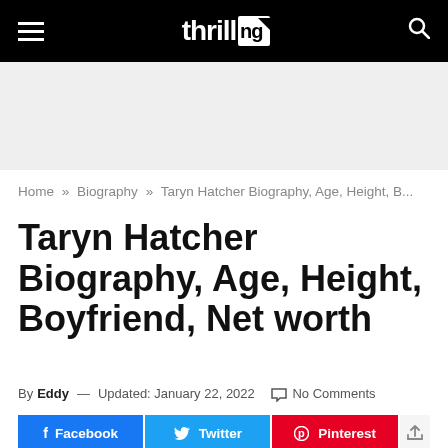thrill [logo with icon] — navigation bar with hamburger menu and search icon
[Figure (other): Advertisement/banner placeholder area with light gray background]
Home » Biography » Taryn Hatcher Biography, Age, Height, B...
Taryn Hatcher Biography, Age, Height, Boyfriend, Net worth
By Eddy — Updated: January 22, 2022   No Comments
Facebook  Twitter  Pinterest  [share]